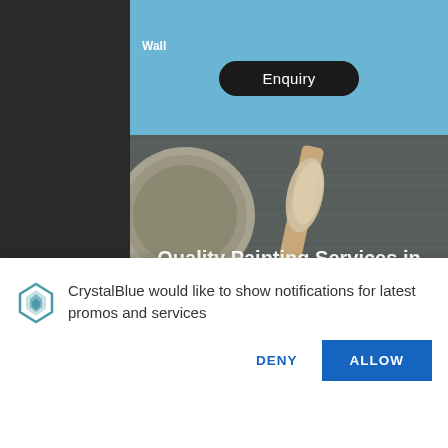[Figure (screenshot): Screenshot of CrystalBlue painting services website. Top blue bar with 'Wall' text and an 'Enquiry' button. Hero section with background photo of paint cans and brush, overlaid with bold white text: 'Quality Painting Services in Dubai' and 'Low VOC or Zero VOC Painting Services'. Body text reads: 'In line with our 2023 Vision of converting all our services into eco friendly solutions, CrystalBlue is already taking necess...'. Left side has a dark sidebar. Bottom notification popup with CrystalBlue logo icon and text 'CrystalBlue would like to show notifications for latest promos and services' with DENY and ALLOW buttons.]
Wall
Enquiry
Quality Painting Services in Dubai
Low VOC or Zero VOC Painting Services
In line with our 2023 Vision of converting all our services into eco friendly solutions, CrystalBlue is already taking necess...
CrystalBlue would like to show notifications for latest promos and services
DENY
ALLOW